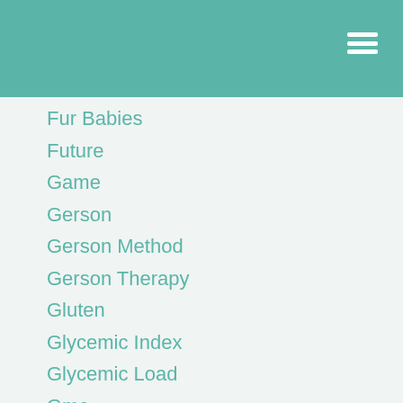Friend
Functional Foods
Fur Babies
Future
Game
Gerson
Gerson Method
Gerson Therapy
Gluten
Glycemic Index
Glycemic Load
Gmo
Goals
Goal Setting
God
Good Fat
Good Fats
Grain
Grass Fed
Grass-finished
Gratitude